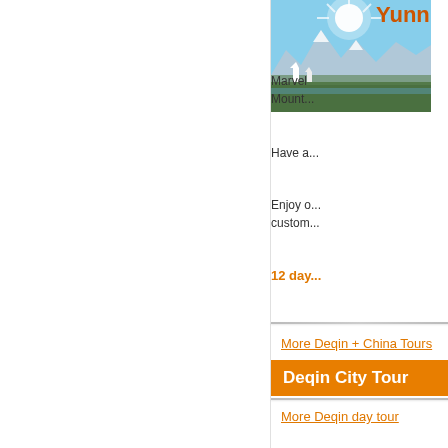[Figure (photo): Mountain landscape with sun rays, snow-capped peaks, pagodas, and green valley — Deqin/Yunnan China]
Yunn...
Marvel... Mount...
Have a...
Enjoy... custom...
12 day...
More Deqin + China Tours
Deqin City Tour
More Deqin day tour
In China, you can rely on us.
Home | About us | Contact us | Terms | Payment | Privacy Policy | Links
Travel Beijing | Travel Yunnan | Travel Fujian | Dunhuang and Silk Road Tour | China Ma...
Copyright 2004-2015...
Partner sites: Beijing Vacations Shanghai Vacations Guangzhou Hotel China Guid...
var gaJsHost = (("https:" == document.location.protocol) ? "https://ssl." : "http...
type='text/javascript'%3E%3C/script%3E')); try { var pageTracke...